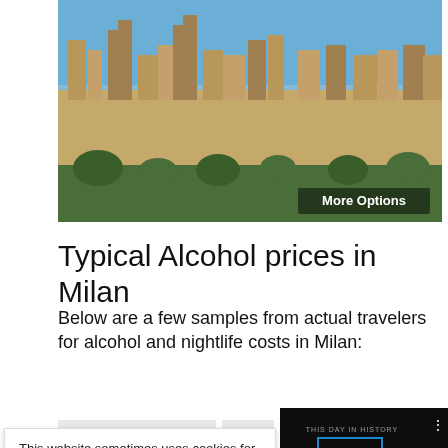[Figure (photo): Aerial/panoramic photograph of a medieval Italian hilltop town (San Gimignano) with tall towers against a blue sky, with 'More Options' button overlay]
Typical Alcohol prices in Milan
Below are a few samples from actual travelers for alcohol and nightlife costs in Milan:
[Figure (screenshot): Video player showing 'THIS DAY IN HISTORY' with a play button, progress bar, mute and fullscreen controls. Shows 'SEPTEMBER' label.]
Cocktail at a
R
This website sometimes uses cookies for tracking purposes. See our privacy policy for more details.